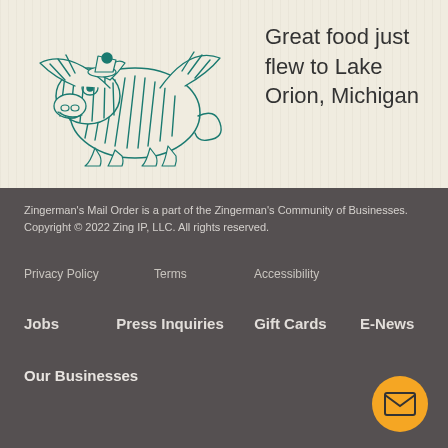[Figure (illustration): Cartoon drawing of a flying pig with wings in teal/green ink style]
Great food just flew to Lake Orion, Michigan
Zingerman's Mail Order is a part of the Zingerman's Community of Businesses. Copyright © 2022 Zing IP, LLC. All rights reserved.
Privacy Policy
Terms
Accessibility
Jobs
Press Inquiries
Gift Cards
E-News
Our Businesses
[Figure (illustration): Orange circular button with envelope/mail icon]